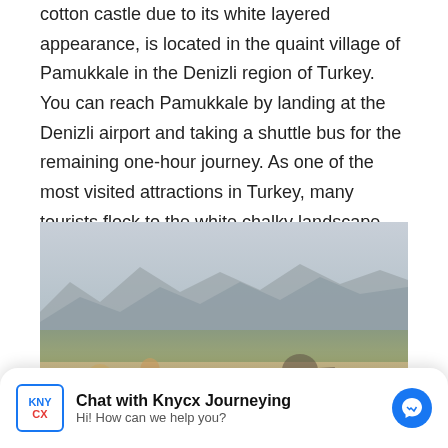cotton castle due to its white layered appearance, is located in the quaint village of Pamukkale in the Denizli region of Turkey. You can reach Pamukkale by landing at the Denizli airport and taking a shuttle bus for the remaining one-hour journey. As one of the most visited attractions in Turkey, many tourists flock to the white chalky landscape with milky blue waters to either heal or take pictures.
[Figure (photo): Tourists posing outdoors with mountains and a valley landscape in the background, taken at or near Pamukkale, Turkey.]
Chat with Knycx Journeying
Hi! How can we help you?